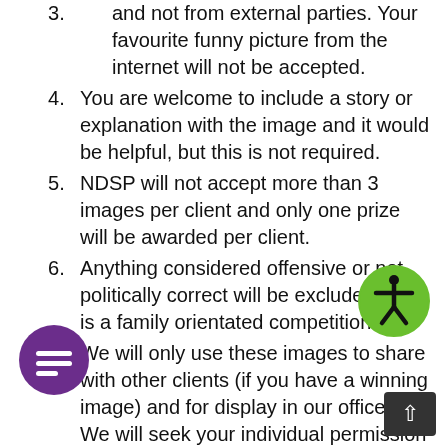and not from external parties. Your favourite funny picture from the internet will not be accepted.
You are welcome to include a story or explanation with the image and it would be helpful, but this is not required.
NDSP will not accept more than 3 images per client and only one prize will be awarded per client.
Anything considered offensive or not politically correct will be excluded. This is a family orientated competition.
We will only use these images to share with other clients (if you have a winning image) and for display in our offices.  We will seek your individual permission if we want to use these images beyond these purposes.
[Figure (illustration): Green circle accessibility icon with person figure in black]
[Figure (illustration): Purple circle chat/message icon with white lines]
[Figure (illustration): Dark grey scroll-to-top button with white upward arrow]